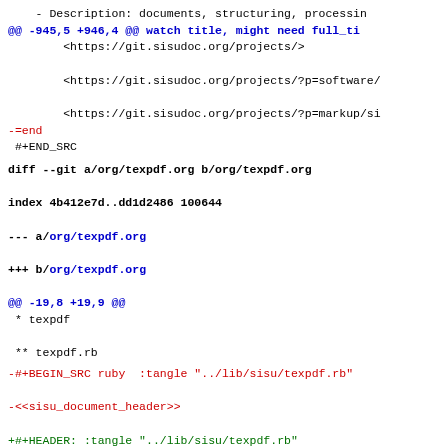- Description: documents, structuring, processin
@@ -945,5 +946,4 @@ watch title, might need full_ti
<https://git.sisudoc.org/projects/>
        <https://git.sisudoc.org/projects/?p=software/
        <https://git.sisudoc.org/projects/?p=markup/si
-=end
#+END_SRC
diff --git a/org/texpdf.org b/org/texpdf.org
index 4b412e7d..dd1d2486 100644
--- a/org/texpdf.org
+++ b/org/texpdf.org
@@ -19,8 +19,9 @@
* texpdf
 ** texpdf.rb
-#+BEGIN_SRC ruby  :tangle "../lib/sisu/texpdf.rb"
-<<sisu_document_header>>
+#+HEADER: :tangle "../lib/sisu/texpdf.rb"
+#+BEGIN_SRC ruby
+#+<<sisu_document_header>>
 module SiSU_TeX
    begin
       require 'pstore'
@@ -1131,8 +1132,9 @@ __END__
** texpdf_parts.rb
-#+BEGIN_SRC ruby  :tangle "../lib/sisu/texpdf_part